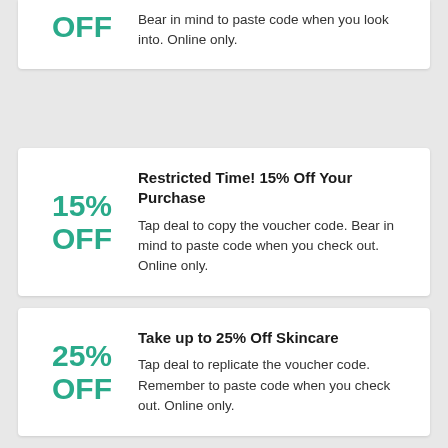Bear in mind to paste code when you look into. Online only.
Restricted Time! 15% Off Your Purchase
Tap deal to copy the voucher code. Bear in mind to paste code when you check out. Online only.
Take up to 25% Off Skincare
Tap deal to replicate the voucher code. Remember to paste code when you check out. Online only.